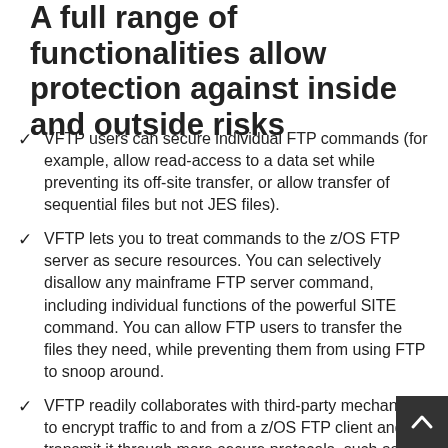A full range of functionalities allow protection against inside and outside risks
VFTP users can secure individual FTP commands (for example, allow read-access to a data set while preventing its off-site transfer, or allow transfer of sequential files but not JES files).
VFTP lets you to treat commands to the z/OS FTP server as secure resources. You can selectively disallow any mainframe FTP server command, including individual functions of the powerful SITE command. You can allow FTP users to transfer the files they need, while preventing them from using FTP to snoop around.
VFTP readily collaborates with third-party mechanisms to encrypt traffic to and from a z/OS FTP client and transmit it through more secure protocols, such as TSL or SFTP.